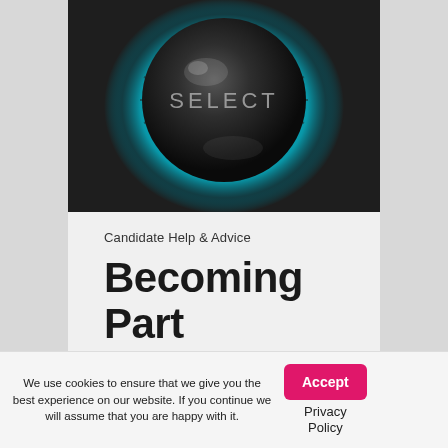[Figure (photo): Close-up photo of a glowing cyan/blue-lit circular SELECT button on a dark electronic device or remote control panel]
Candidate Help & Advice
Becoming Part of a Headhunter's
We use cookies to ensure that we give you the best experience on our website. If you continue we will assume that you are happy with it.
Accept
Privacy Policy